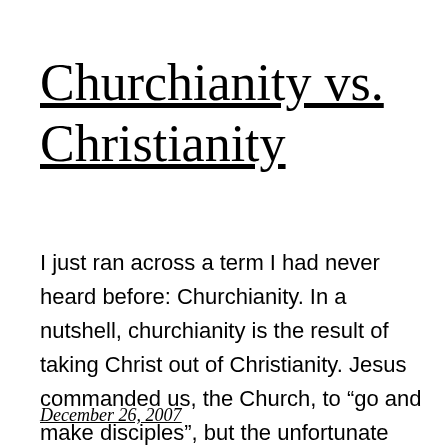Churchianity vs. Christianity
I just ran across a term I had never heard before: Churchianity. In a nutshell, churchianity is the result of taking Christ out of Christianity. Jesus commanded us, the Church, to “go and make disciples”, but the unfortunate reality is that we are more prone to go and make church members. When I say “we”, […]
December 26, 2007